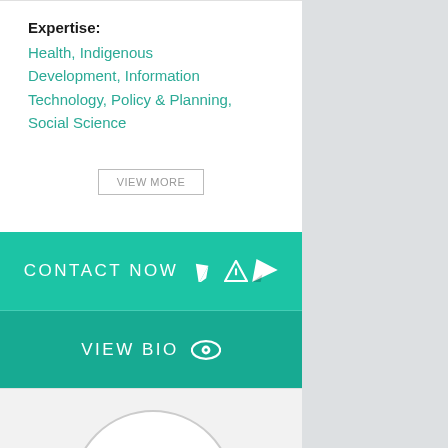Expertise: Health, Indigenous Development, Information Technology, Policy & Planning, Social Science
VIEW MORE
CONTACT NOW
VIEW BIO
[Figure (illustration): Circular avatar placeholder outline at bottom of card]